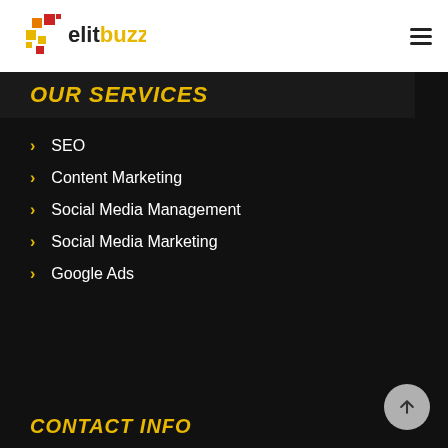[Figure (logo): elitbuzz logo with colorful pixel/puzzle pieces icon in red, orange, yellow on left and 'elitbuzz' text in bold]
OUR SERVICES
SEO
Content Marketing
Social Media Management
Social Media Marketing
Google Ads
CONTACT INFO